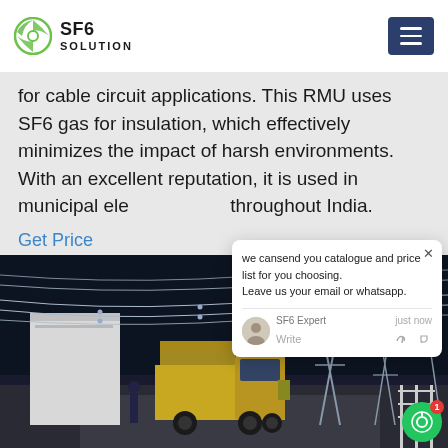SF6 SOLUTION
for cable circuit applications. This RMU uses SF6 gas for insulation, which effectively minimizes the impact of harsh environments. With an excellent reputation, it is used in municipal electrical grids throughout India.
Get Price
[Figure (photo): Night-time photo of a yellow Isuzu truck at an electrical substation with high-voltage transmission towers and white GIS equipment buildings in the background]
[Figure (screenshot): Chat popup overlay showing: 'we can send you catalogue and price list for you choosing. Leave us your email or whatsapp.' with SF6 Expert agent shown as 'just now', a write input area, and close button]